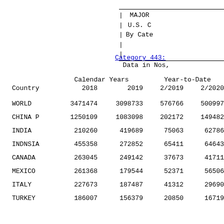MAJOR
U.S. C
By Cate
Category 443:
Data in Nos,
| Country | Calendar Years 2018 | Calendar Years 2019 | Year-to-Date 2/2019 | Year-to-Date 2/2020 |
| --- | --- | --- | --- | --- |
| WORLD | 3471474 | 3098733 | 576766 | 500997 |
| CHINA P | 1250109 | 1083098 | 202172 | 149482 |
| INDIA | 210260 | 419689 | 75063 | 62786 |
| INDNSIA | 455358 | 272852 | 65411 | 64643 |
| CANADA | 263045 | 249142 | 37673 | 41711 |
| MEXICO | 261368 | 179544 | 52371 | 56506 |
| ITALY | 227673 | 187487 | 41312 | 29690 |
| TURKEY | 186007 | 156379 | 20850 | 16719 |